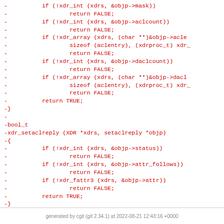-          if (!xdr_int (xdrs, &objp->mask))
-                  return FALSE;
-          if (!xdr_int (xdrs, &objp->aclcount))
-                  return FALSE;
-          if (!xdr_array (xdrs, (char **)&objp->acle
-                  sizeof (aclentry), (xdrproc_t) xdr_
-                  return FALSE;
-          if (!xdr_int (xdrs, &objp->daclcount))
-                  return FALSE;
-          if (!xdr_array (xdrs, (char **)&objp->dacl
-                  sizeof (aclentry), (xdrproc_t) xdr_
-                  return FALSE;
-          return TRUE;
-}
-
-bool_t
-xdr_setaclreply (XDR *xdrs, setaclreply *objp)
-{
-          if (!xdr_int (xdrs, &objp->status))
-                  return FALSE;
-          if (!xdr_int (xdrs, &objp->attr_follows))
-                  return FALSE;
-          if (!xdr_fattr3 (xdrs, &objp->attr))
-                  return FALSE;
-          return TRUE;
-}
generated by cgit (git 2.34.1) at 2022-08-21 12:43:16 +0000